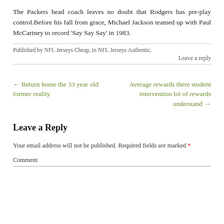The Packers head coach leaves no doubt that Rodgers has pre-play control.Before his fall from grace, Michael Jackson teamed up with Paul McCartney to record ‘Say Say Say’ in 1983.
Published by NFL Jerseys Cheap, in NFL Jerseys Authentic.
Leave a reply
← Return home the 33 year old former reality
Average rewards there student intervention lot of rewards understand →
Leave a Reply
Your email address will not be published. Required fields are marked *
Comment